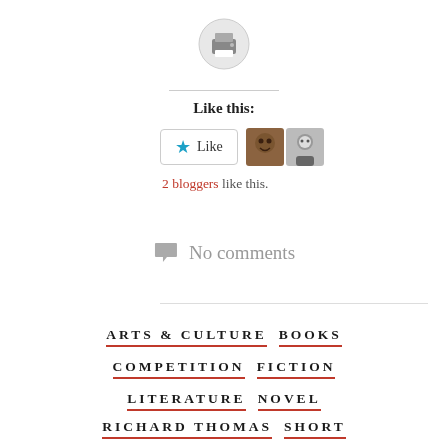[Figure (illustration): Print icon inside a light gray circle]
Like this:
[Figure (illustration): Like button with blue star and two blogger avatar thumbnails]
2 bloggers like this.
No comments
ARTS & CULTURE
BOOKS
COMPETITION
FICTION
LITERATURE
NOVEL
RICHARD THOMAS
SHORT
STORY COMPETITION
WRITING